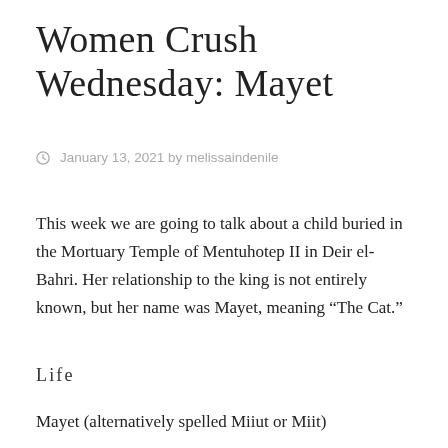Women Crush Wednesday: Mayet
January 13, 2021 by melissaindenile
This week we are going to talk about a child buried in the Mortuary Temple of Mentuhotep II in Deir el-Bahri. Her relationship to the king is not entirely known, but her name was Mayet, meaning “The Cat.”
Life
Mayet (alternatively spelled Miiut or Miit)